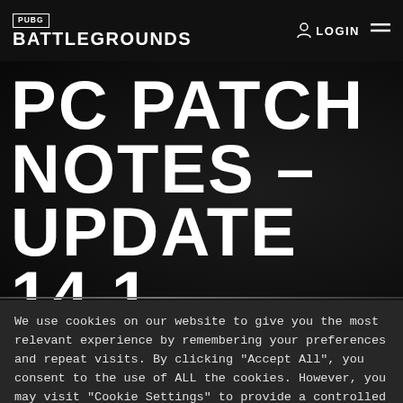PUBG BATTLEGROUNDS — LOGIN
PC PATCH NOTES – UPDATE 14.1
We use cookies on our website to give you the most relevant experience by remembering your preferences and repeat visits. By clicking "Accept All", you consent to the use of ALL the cookies. However, you may visit "Cookie Settings" to provide a controlled consent.
COOKIE SETTINGS
ACCEPT ALL